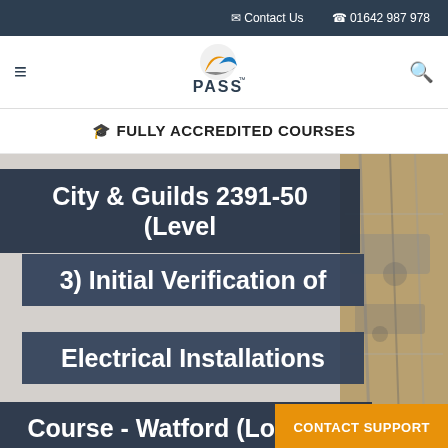Contact Us  01642 987 978
[Figure (logo): PASS logo with orange and blue swoosh graphic and PASS text]
FULLY ACCREDITED COURSES
City & Guilds 2391-50 (Level 3) Initial Verification of Electrical Installations Course - Watford (London)
CONTACT SUPPORT